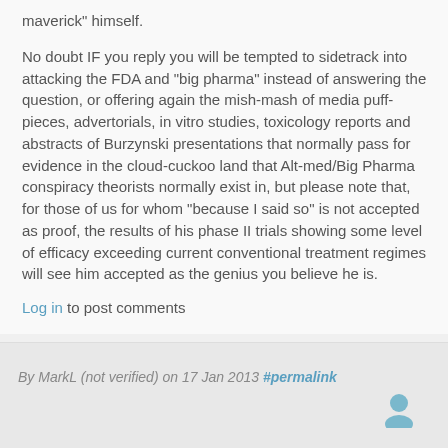maverick" himself.
No doubt IF you reply you will be tempted to sidetrack into attacking the FDA and "big pharma" instead of answering the question, or offering again the mish-mash of media puff-pieces, advertorials, in vitro studies, toxicology reports and abstracts of Burzynski presentations that normally pass for evidence in the cloud-cuckoo land that Alt-med/Big Pharma conspiracy theorists normally exist in, but please note that, for those of us for whom "because I said so" is not accepted as proof, the results of his phase II trials showing some level of efficacy exceeding current conventional treatment regimes will see him accepted as the genius you believe he is.
Log in to post comments
By MarkL (not verified) on 17 Jan 2013 #permalink